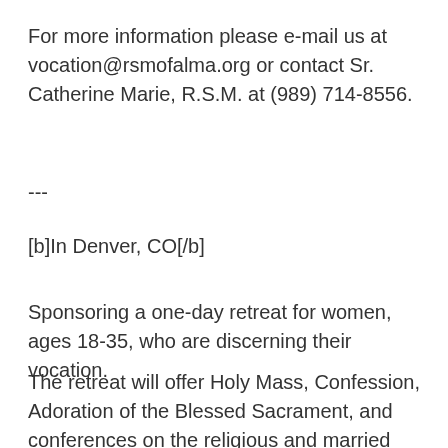For more information please e-mail us at vocation@rsmofalma.org or contact Sr. Catherine Marie, R.S.M. at (989) 714-8556.
---
[b]In Denver, CO[/b]
Sponsoring a one-day retreat for women, ages 18-35, who are discerning their vocation.
The retreat will offer Holy Mass, Confession, Adoration of the Blessed Sacrament, and conferences on the religious and married vocations. It will be held [i]8 a.m to 5 p.m. on Saturday, April